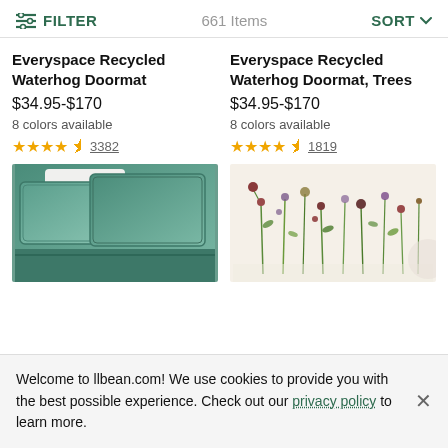FILTER  661 Items  SORT
Everyspace Recycled Waterhog Doormat
$34.95-$170
8 colors available
★★★★★ 3382
Everyspace Recycled Waterhog Doormat, Trees
$34.95-$170
8 colors available
★★★★★ 1819
[Figure (photo): Teal/green bedding with pillows on a bed]
[Figure (photo): Floral patterned fabric with botanical print on cream background]
Welcome to llbean.com! We use cookies to provide you with the best possible experience. Check out our privacy policy to learn more.